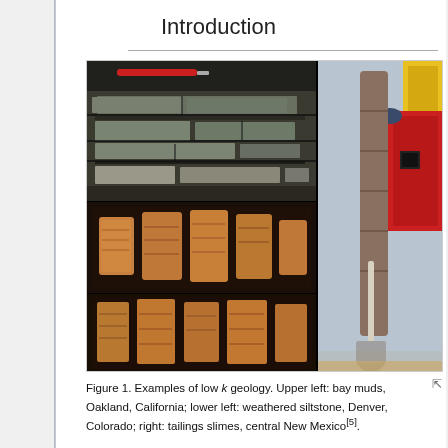Introduction
[Figure (photo): Three geology photos on the left (upper left: bay muds showing layered grey-green clay blocks, Oakland California; lower left top: weathered siltstone fragments in brown tray, Denver Colorado; lower left bottom: more weathered siltstone close-up) and one tall photo on the right (tailings slimes drill core column with shovel and heavy equipment, central New Mexico).]
Figure 1. Examples of low k geology. Upper left: bay muds, Oakland, California; lower left: weathered siltstone, Denver, Colorado; right: tailings slimes, central New Mexico[5].